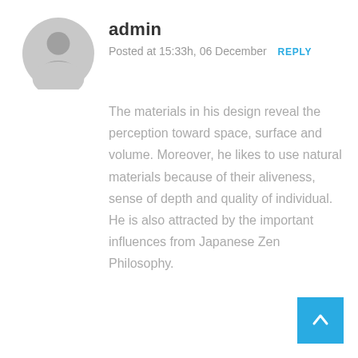[Figure (illustration): Gray circular avatar icon with a silhouette of a person (head and shoulders), typical default user profile image.]
admin
Posted at 15:33h, 06 December  REPLY
The materials in his design reveal the perception toward space, surface and volume. Moreover, he likes to use natural materials because of their aliveness, sense of depth and quality of individual. He is also attracted by the important influences from Japanese Zen Philosophy.
[Figure (other): Blue square button with a white upward arrow, used as a scroll-to-top button.]